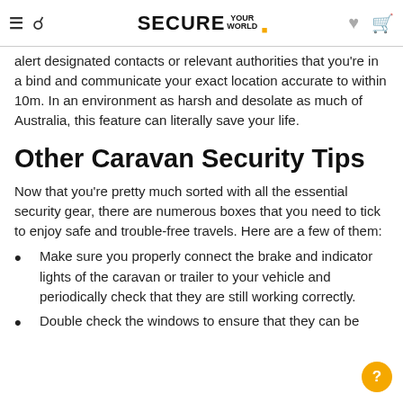SECURE YOUR WORLD
alert designated contacts or relevant authorities that you're in a bind and communicate your exact location accurate to within 10m. In an environment as harsh and desolate as much of Australia, this feature can literally save your life.
Other Caravan Security Tips
Now that you're pretty much sorted with all the essential security gear, there are numerous boxes that you need to tick to enjoy safe and trouble-free travels. Here are a few of them:
Make sure you properly connect the brake and indicator lights of the caravan or trailer to your vehicle and periodically check that they are still working correctly.
Double check the windows to ensure that they can be